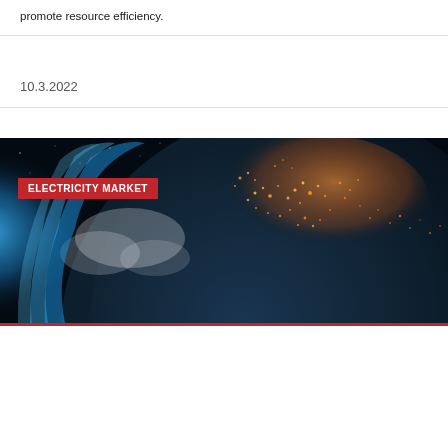promote resource efficiency.
10.3.2022
[Figure (photo): Satellite view of Earth at night showing Europe illuminated with city lights against a dark space background, with a blue atmospheric glow visible on the left side. A red badge labeled 'ELECTRICITY MARKET' is overlaid on the upper left of the image.]